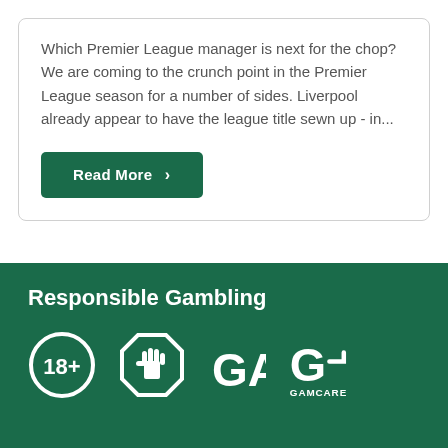Which Premier League manager is next for the chop? We are coming to the crunch point in the Premier League season for a number of sides. Liverpool already appear to have the league title sewn up - in...
Read More >
Responsible Gambling
[Figure (logo): Responsible gambling logos: 18+ circle, Hand stop sign, GA text logo, GamCare logo]